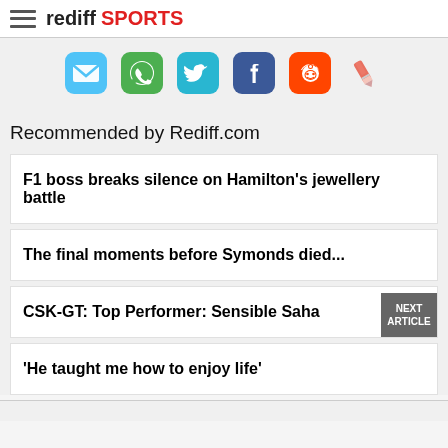rediff SPORTS
[Figure (infographic): Social share icons row: email (blue rounded square), WhatsApp (green rounded square), Twitter (light blue rounded square), Facebook (dark blue rounded square), Reddit (orange rounded square), pencil/edit icon]
Recommended by Rediff.com
F1 boss breaks silence on Hamilton's jewellery battle
The final moments before Symonds died...
CSK-GT: Top Performer: Sensible Saha
'He taught me how to enjoy life'